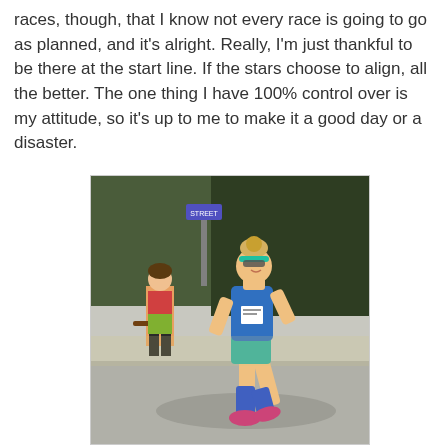races, though, that I know not every race is going to go as planned, and it's alright. Really, I'm just thankful to be there at the start line. If the stars choose to align, all the better. The one thing I have 100% control over is my attitude, so it's up to me to make it a good day or a disaster.
[Figure (photo): A female runner wearing a blue tank top, teal shorts, blue compression socks, and pink shoes runs in a race. She wears sunglasses and a teal headband. In the background, a young girl stands on the sidewalk watching.]